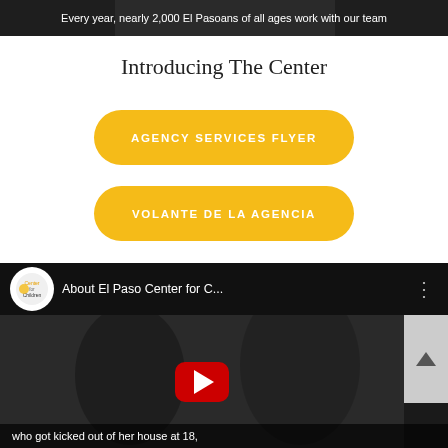[Figure (photo): Dark banner image with white text overlay reading: 'Every year, nearly 2,000 El Pasoans of all ages work with our team']
Introducing The Center
[Figure (other): Yellow rounded button with white uppercase text: AGENCY SERVICES FLYER]
[Figure (other): Yellow rounded button with white uppercase text: VOLANTE DE LA AGENCIA]
[Figure (screenshot): YouTube video embed thumbnail showing 'About El Paso Center for C...' with a red play button on a dark background, subtitle text: 'who got kicked out of her house at 18,']